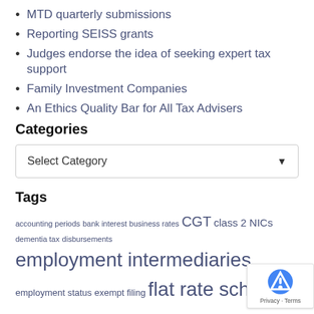MTD quarterly submissions
Reporting SEISS grants
Judges endorse the idea of seeking expert tax support
Family Investment Companies
An Ethics Quality Bar for All Tax Advisers
Categories
Select Category
Tags
accounting periods bank interest business rates CGT class 2 NICs dementia tax disbursements employment intermediaries employment status exempt filing flat rate scheme hmrc information powers holiday cottage IHT IHT planning information notice inheritance tax inheritance tax planning letting income MTD National Minimum Wage NLW NMW payrolling penalties penalty notice Press Release property allowance rental income residential property SDLT sdlt supplement Se...